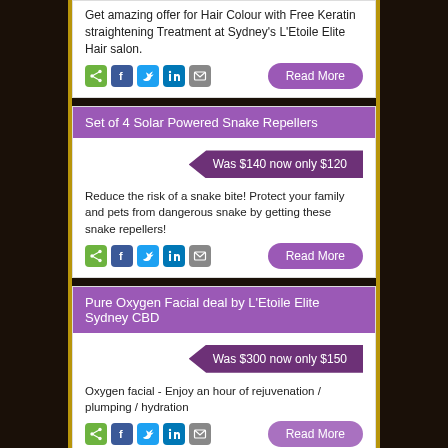Get amazing offer for Hair Colour with Free Keratin straightening Treatment at Sydney's L'Etoile Elite Hair salon.
[Figure (infographic): Social share icons (share, facebook, twitter, linkedin, email) and Read More button]
Set of 4 Solar Powered Snake Repellers
[Figure (infographic): Price tag: Was $140 now only $120]
Reduce the risk of a snake bite! Protect your family and pets from dangerous snake by getting these snake repellers!
[Figure (infographic): Social share icons (share, facebook, twitter, linkedin, email) and Read More button]
Pure Oxygen Facial deal by L'Etoile Elite Sydney CBD
[Figure (infographic): Price tag: Was $300 now only $150]
Oxygen facial - Enjoy an hour of rejuvenation / plumping / hydration
[Figure (infographic): Social share icons (share, facebook, twitter, linkedin, email) and Read More button (partially visible)]